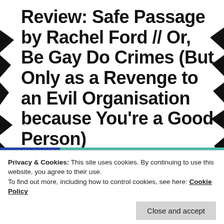Review: Safe Passage by Rachel Ford // Or, Be Gay Do Crimes (But Only as a Revenge to an Evil Organisation because You're a Good Person)
[Figure (illustration): Illustrated book cover strip showing bees and insects on a teal/turquoise background with floral elements, partially showing a book cover with a blue planet/space image on the left side.]
Privacy & Cookies: This site uses cookies. By continuing to use this website, you agree to their use.
To find out more, including how to control cookies, see here: Cookie Policy
Close and accept